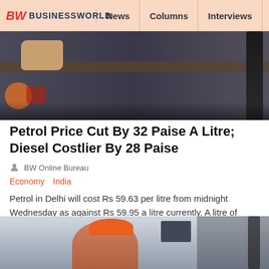BW BUSINESSWORLD | News | Columns | Interviews | BW
[Figure (photo): A person in dark uniform holding a petrol pump nozzle at a fuel station]
Petrol Price Cut By 32 Paise A Litre; Diesel Costlier By 28 Paise
BW Online Bureau
Economy  India
Petrol in Delhi will cost Rs 59.63 per litre from midnight Wednesday as against Rs 59.95 a litre currently. A litre of diesel will cost Rs 44.96 a litre as compared to Rs 44.68 now
READ MORE
[Figure (photo): A petrol station worker with an orange cap operating a fuel pump]